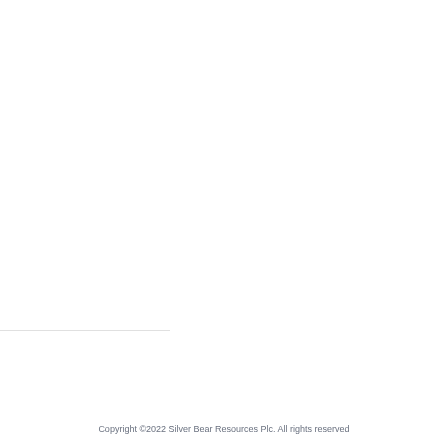Copyright ©2022 Silver Bear Resources Plc. All rights reserved